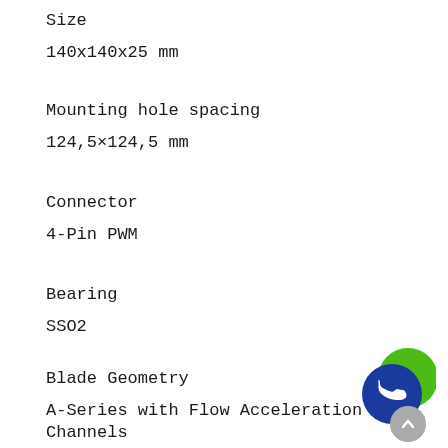Size
140x140x25 mm
Mounting hole spacing
124,5×124,5 mm
Connector
4-Pin PWM
Bearing
SSO2
Blade Geometry
A-Series with Flow Acceleration Channels
Frame Technology
AAO
[Figure (other): Green and blue circular phone/contact button overlay in bottom-right corner, with a white phone handset icon on blue circle and green partial circle behind it. A grey scroll-to-top button is partially visible below.]